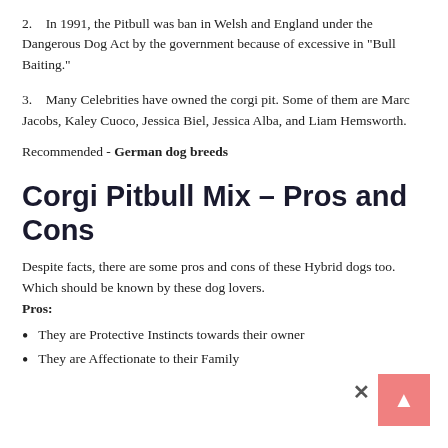2.    In 1991, the Pitbull was ban in Welsh and England under the Dangerous Dog Act by the government because of excessive in "Bull Baiting."
3.    Many Celebrities have owned the corgi pit. Some of them are Marc Jacobs, Kaley Cuoco, Jessica Biel, Jessica Alba, and Liam Hemsworth.
Recommended - German dog breeds
Corgi Pitbull Mix – Pros and Cons
Despite facts, there are some pros and cons of these Hybrid dogs too. Which should be known by these dog lovers.
Pros:
They are Protective Instincts towards their owner
They are Affectionate to their Family